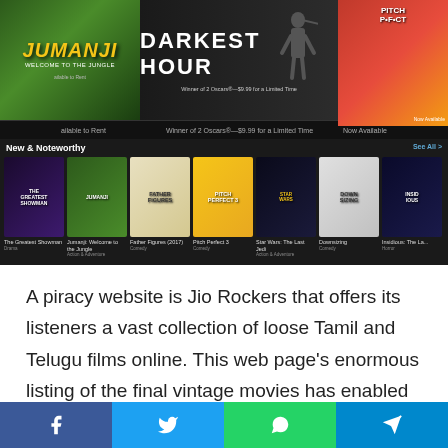[Figure (screenshot): iTunes/Apple TV movie store screenshot showing featured movies including Jumanji: Welcome to the Jungle, Darkest Hour, Pitch Perfect 3, and rows of New & Noteworthy and More Movies You Might Like sections]
A piracy website is Jio Rockers that offers its listeners a vast collection of loose Tamil and Telugu films online. This web page's enormous listing of the final vintage movies has enabled users to download content effortlessly. Jio Rockers Tamil lets you print OK from 360p to 720p as quickly as viable for their clients on newly released HD and extremely excellent movies. This web page is well-known for turning in Telugu
[Figure (infographic): Social share bar with Facebook, Twitter, WhatsApp, and Telegram buttons]